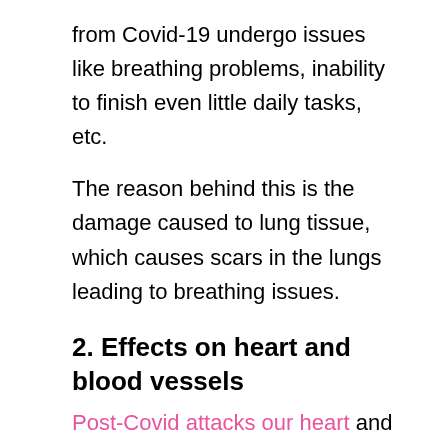from Covid-19 undergo issues like breathing problems, inability to finish even little daily tasks, etc.
The reason behind this is the damage caused to lung tissue, which causes scars in the lungs leading to breathing issues.
2. Effects on heart and blood vessels
Post-Covid attacks our heart and the circulatory system in a serious manner that can be dangerous to life, this issue is generally present in patients already dealing with heart problems.
Doctors have observed that even if a person tests Covid-19, he/she can still suffer from issues like chronic fatigue, chest aches, non-uniform heart rate, etc. These issues can lead to heart failure.